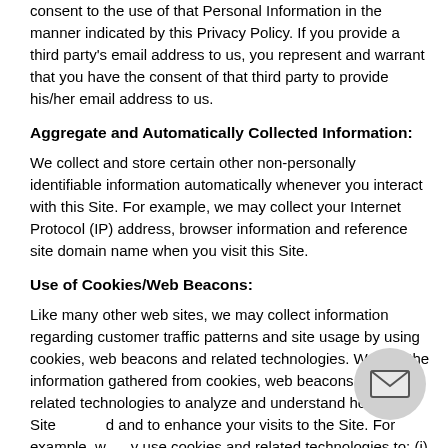consent to the use of that Personal Information in the manner indicated by this Privacy Policy. If you provide a third party's email address to us, you represent and warrant that you have the consent of that third party to provide his/her email address to us.
Aggregate and Automatically Collected Information:
We collect and store certain other non-personally identifiable information automatically whenever you interact with this Site. For example, we may collect your Internet Protocol (IP) address, browser information and reference site domain name when you visit this Site.
Use of Cookies/Web Beacons:
Like many other web sites, we may collect information regarding customer traffic patterns and site usage by using cookies, web beacons and related technologies. We use the information gathered from cookies, web beacons and related technologies to analyze and understand how the Site and to enhance your visits to the Site. For example, we may use cookies and related technologies to: (i) customize account